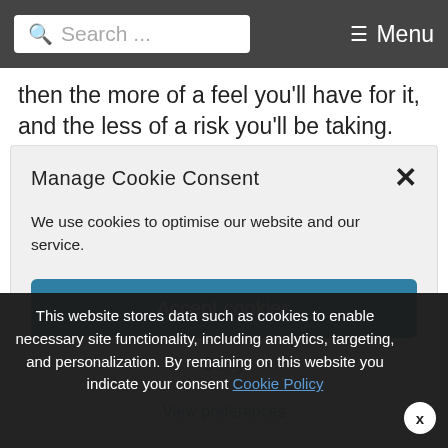Search ... Menu
then the more of a feel you'll have for it, and the less of a risk you'll be taking.
Manage Cookie Consent
We use cookies to optimise our website and our service.
Accept cookies
Deny
View preferences
Auction Houses, Auctioneers, Binding, Buying Second-hand Books, Buying Tips, Collecting Tips, Condition, Rare, Edwardian
This website stores data such as cookies to enable necessary site functionality, including analytics, targeting, and personalization. By remaining on this website you indicate your consent Cookie Policy